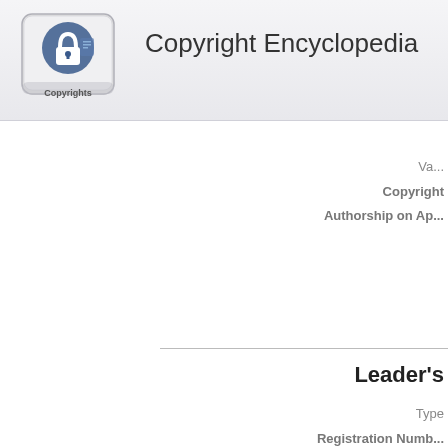[Figure (logo): Copyright key logo - a keyboard key with a padlock and document icon labeled 'Copyrights']
Copyright Encyclopedia
Va...
Copyright
Authorship on Ap...
Leader's
Type
Registration Numb...